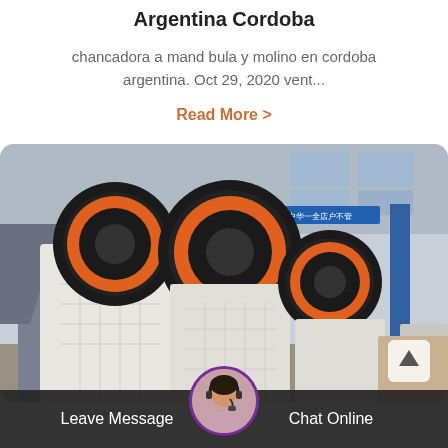Argentina Cordoba
chancadora a mand bula y molino en cordoba argentina. Oct 29, 2020 vent...
Read More >
[Figure (photo): Industrial jaw crusher machines in a factory setting with large orange and black flywheels, white metal frames, and a factory building in the background]
Leave Message
Chat Online